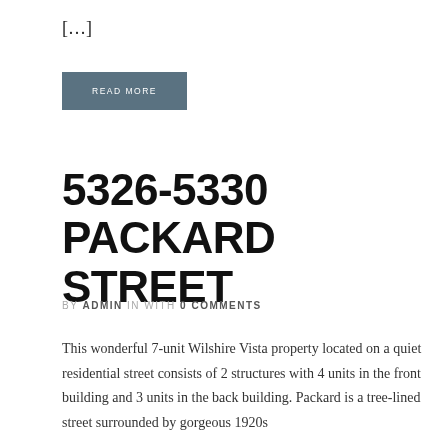[…]
READ MORE
5326-5330 PACKARD STREET
BY ADMIN IN WITH 0 COMMENTS
This wonderful 7-unit Wilshire Vista property located on a quiet residential street consists of 2 structures with 4 units in the front building and 3 units in the back building. Packard is a tree-lined street surrounded by gorgeous 1920s